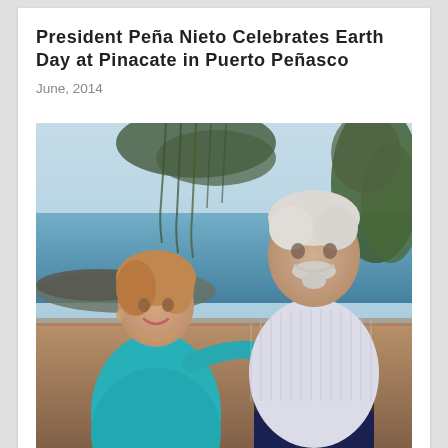President Peña Nieto Celebrates Earth Day at Pinacate in Puerto Peñasco
June, 2014
[Figure (photo): An elderly couple posing outdoors near the ocean. The woman on the left wears a teal/turquoise top with a necklace and has short reddish-brown hair. The man on the right wears a striped white polo shirt, has white hair and a white beard/goatee. They stand in front of a coastal scene with blue water, rocky shore, and tropical trees.]